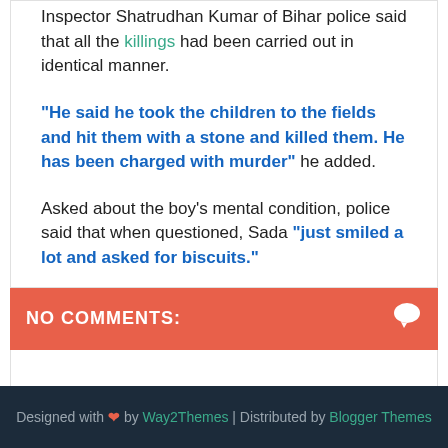Inspector Shatrudhan Kumar of Bihar police said that all the killings had been carried out in identical manner.
"He said he took the children to the fields and hit them with a stone and killed them. He has been charged with murder" he added.
Asked about the boy's mental condition, police said that when questioned, Sada "just smiled a lot and asked for biscuits."
NO COMMENTS:
Designed with ❤ by Way2Themes | Distributed by Blogger Themes